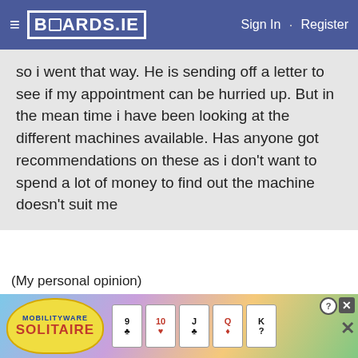BOARDS.IE  Sign In · Register
so i went that way. He is sending off a letter to see if my appointment can be hurried up. But in the mean time i have been looking at the different machines available. Has anyone got recommendations on these as i don't want to spend a lot of money to find out the machine doesn't suit me
(My personal opinion)
I have been on treatment for sleep apnoea for over 14 years. I am surprised that you have been asked to wait that long.
[Figure (screenshot): MobilityWare Solitaire advertisement banner with playing cards]